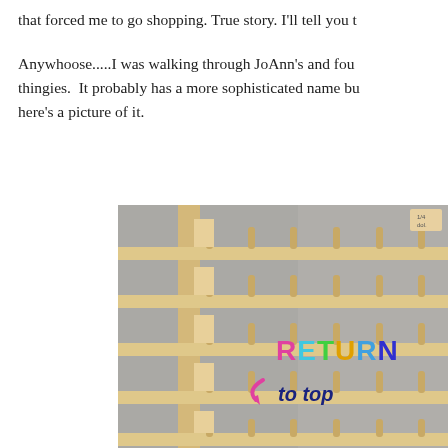that forced me to go shopping. True story. I'll tell you l
Anywhoose.....I was walking through JoAnn's and fou thingies.  It probably has a more sophisticated name bu here's a picture of it.
[Figure (photo): Photo of a wooden thread/spool rack with multiple horizontal shelves and vertical dowel pegs, shown in a store. Overlaid with colorful 'RETURN to top' text and a pink arrow.]